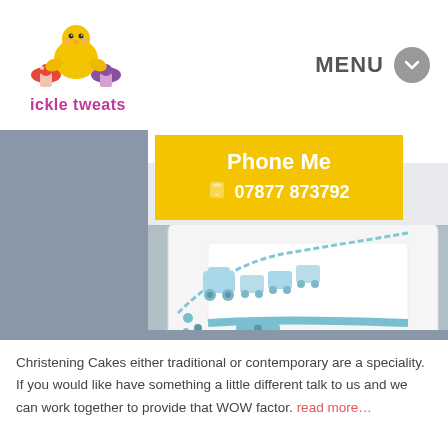[Figure (logo): Ickle Tweats logo with yellow chick and cupcakes illustration above the text 'ickle tweats' in purple/pink]
MENU
[Figure (infographic): Yellow banner with white text: Phone Me, phone icon, 07877 873792]
[Figure (photo): Photo of a white christening cake decorated with a light blue fondant train and blue ribbon bows on a white board]
Christening Cakes either traditional or contemporary are a speciality. If you would like have something a little different talk to us and we can work together to provide that WOW factor. read more…